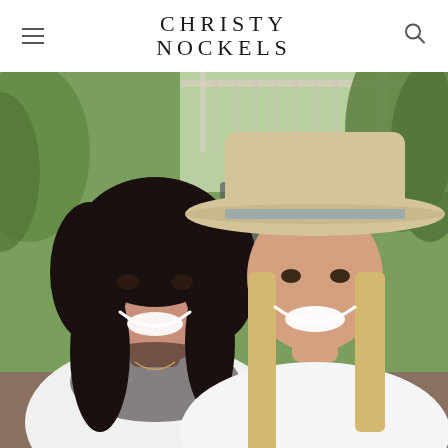CHRISTY NOCKELS
[Figure (photo): Two women smiling outdoors in front of a pergola and trees. The woman on the left has dark curly hair and wears a white shirt. The woman on the right has long blonde hair, wears a white t-shirt, and a wide-brimmed beige hat with a blue band.]